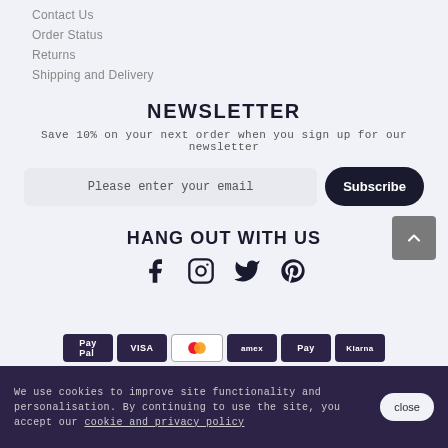Contact Us
Order Status
Returns
Shipping and Delivery
NEWSLETTER
Save 10% on your next order when you sign up for our newsletter
Please enter your email
Subscribe
HANG OUT WITH US
[Figure (other): Social media icons: Facebook, Instagram, Twitter, Pinterest]
[Figure (other): Payment method chips: PayPal, VISA, Mastercard, Amex, Pay, Klarna]
We use cookies to improve site functionality and personalisation. By continuing to use the site, you accept our cookie and privacy policy  close